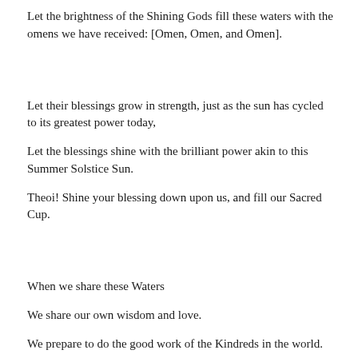Let the brightness of the Shining Gods fill these waters with the omens we have received: [Omen, Omen, and Omen].
Let their blessings grow in strength, just as the sun has cycled to its greatest power today,
Let the blessings shine with the brilliant power akin to this Summer Solstice Sun.
Theoi! Shine your blessing down upon us, and fill our Sacred Cup.
When we share these Waters
We share our own wisdom and love.
We prepare to do the good work of the Kindreds in the world.